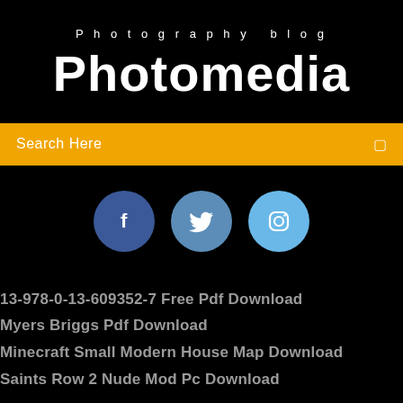Photography blog
Photomedia
Search Here
[Figure (infographic): Three social media icon circles: Facebook (dark blue), Twitter (medium blue), Instagram (light blue)]
13-978-0-13-609352-7 Free Pdf Download
Myers Briggs Pdf Download
Minecraft Small Modern House Map Download
Saints Row 2 Nude Mod Pc Download